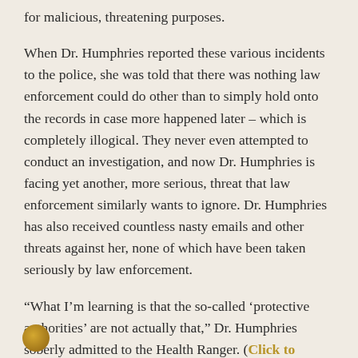for malicious, threatening purposes.
When Dr. Humphries reported these various incidents to the police, she was told that there was nothing law enforcement could do other than to simply hold onto the records in case more happened later – which is completely illogical. They never even attempted to conduct an investigation, and now Dr. Humphries is facing yet another, more serious, threat that law enforcement similarly wants to ignore. Dr. Humphries has also received countless nasty emails and other threats against her, none of which have been taken seriously by law enforcement.
“What I’m learning is that the so-called ‘protective authorities’ are not actually that,” Dr. Humphries soberly admitted to the Health Ranger. (Click to Source)